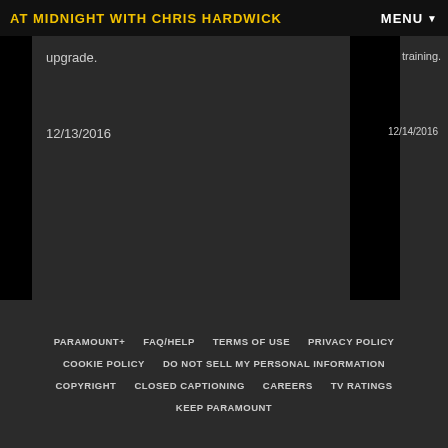AT MIDNIGHT WITH CHRIS HARDWICK
upgrade.
12/13/2016
training.
12/14/2016
PARAMOUNT+  FAQ/HELP  TERMS OF USE  PRIVACY POLICY  COOKIE POLICY  DO NOT SELL MY PERSONAL INFORMATION  COPYRIGHT  CLOSED CAPTIONING  CAREERS  TV RATINGS  KEEP PARAMOUNT